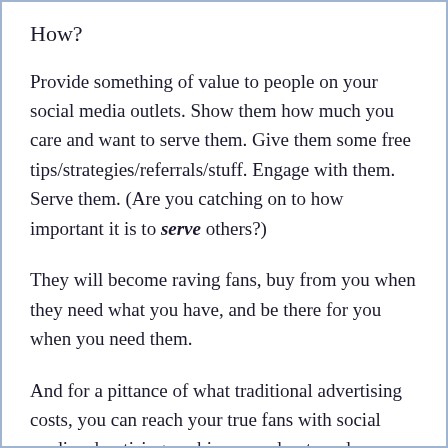How?
Provide something of value to people on your social media outlets. Show them how much you care and want to serve them. Give them some free tips/strategies/referrals/stuff. Engage with them. Serve them. (Are you catching on to how important it is to serve others?)
They will become raving fans, buy from you when they need what you have, and be there for you when you need them.
And for a pittance of what traditional advertising costs, you can reach your true fans with social media advertising, webinars, podcasts and emailings.